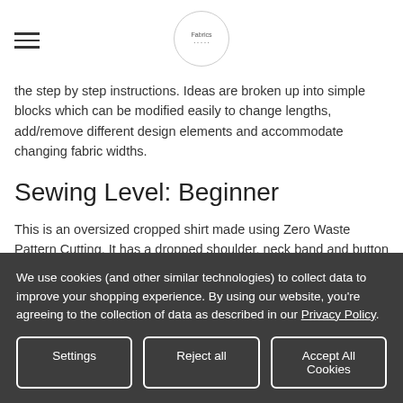Fabrics [logo]
the step by step instructions. Ideas are broken up into simple blocks which can be modified easily to change lengths, add/remove different design elements and accommodate changing fabric widths.
Sewing Level: Beginner
This is an oversized cropped shirt made using Zero Waste Pattern Cutting. It has a dropped shoulder, neck band and button front closure. Length of bodice is easily adjustable to your preference. The width of the garment is variable depending on the fabric width you use. Comes
We use cookies (and other similar technologies) to collect data to improve your shopping experience. By using our website, you're agreeing to the collection of data as described in our Privacy Policy.